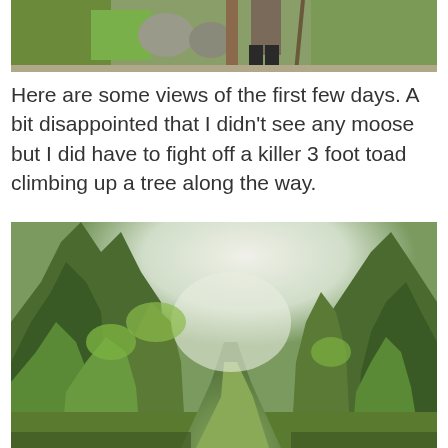[Figure (photo): Partial view of a person hiking, wearing dark boots and holding a walking stick, surrounded by green vegetation and rocks on a trail.]
Here are some views of the first few days. A bit disappointed that I didn't see any moose but I did have to fight off a killer 3 foot toad climbing up a tree along the way.
[Figure (photo): A lush forest trail with tall green conifer and deciduous trees on both sides, bright light visible through the canopy ahead, with a narrow grassy path leading forward.]